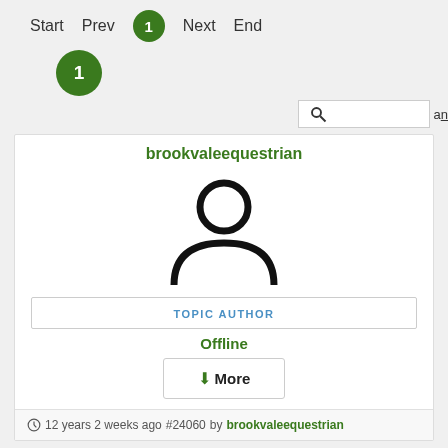Start  Prev  1  Next  End
1
[Figure (screenshot): Search box with magnifying glass icon and partial text 'an']
brookvaleequestrian
[Figure (illustration): Generic user/person placeholder avatar icon (circle head, semicircle body, black outline)]
TOPIC AUTHOR
Offline
↓More
12 years 2 weeks ago #24060 by brookvaleequestrian